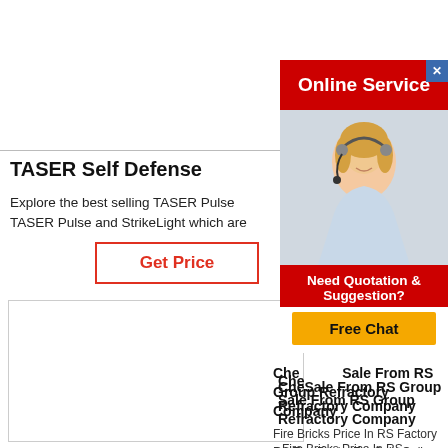[Figure (other): Blank white area, top-left content section]
TASER Self Defense
Explore the best selling TASER Pulse TASER Pulse and StrikeLight which are
Get Price
[Figure (other): Blank white box, bottom-left area]
[Figure (other): Online Service advertisement banner with woman wearing headset]
Need Quotation & Suggestion?
Free Chat
Check Sale From RS Group Refractory Company
Fire Bricks Price In RS Factory RS Fire Bricks For Sale Online
Get Price